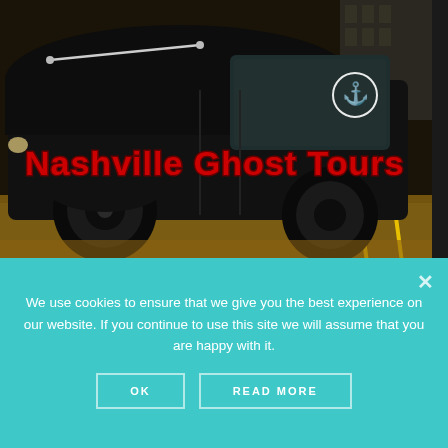[Figure (photo): A black hearse-style vehicle with 'Nashville Ghost Tours' written in red horror-style lettering on the side, parked in a parking lot at night with yellow parking lines visible on the ground.]
We use cookies to ensure that we give you the best experience on our website. If you continue to use this site we will assume that you are happy with it.
OK
READ MORE